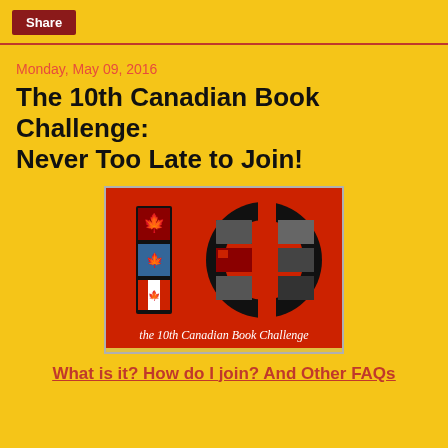Share
Monday, May 09, 2016
The 10th Canadian Book Challenge: Never Too Late to Join!
[Figure (illustration): Red background image showing '10' in large black numerals with book covers embedded inside, and text 'the 10th Canadian Book Challenge' at the bottom]
What is it? How do I join? And Other FAQs